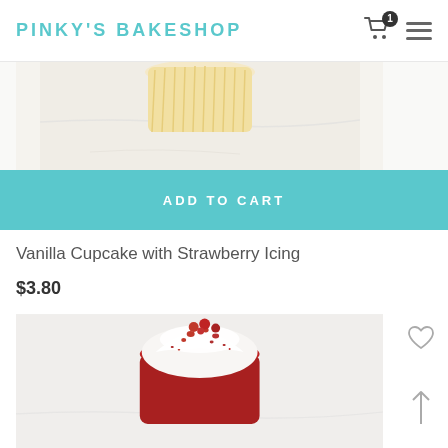PINKY'S BAKESHOP
[Figure (photo): Bottom portion of a vanilla cupcake with yellow/cream top, photographed on a white marble surface]
ADD TO CART
Vanilla Cupcake with Strawberry Icing
$3.80
[Figure (photo): Red velvet cupcake with white cream frosting and red berry toppings, on a white marble surface]